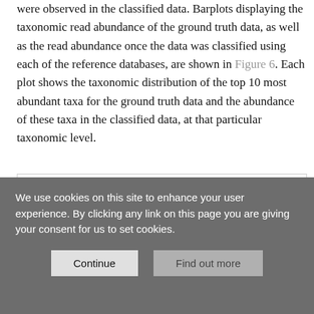were observed in the classified data. Barplots displaying the taxonomic read abundance of the ground truth data, as well as the read abundance once the data was classified using each of the reference databases, are shown in Figure 6. Each plot shows the taxonomic distribution of the top 10 most abundant taxa for the ground truth data and the abundance of these taxa in the classified data, at that particular taxonomic level.
[Figure (other): Partial view of a figure (Figure 6) showing barplots of taxonomic read abundance; content mostly obscured by cookie consent overlay.]
We use cookies on this site to enhance your user experience. By clicking any link on this page you are giving your consent for us to set cookies.